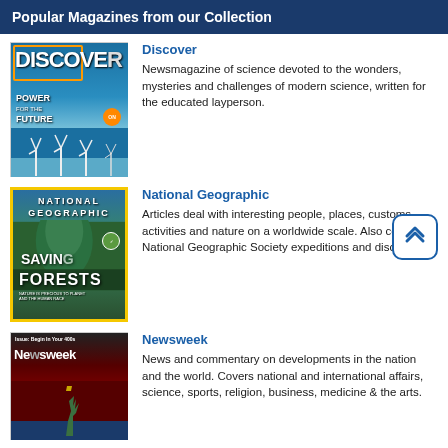Popular Magazines from our Collection
[Figure (illustration): Cover of Discover magazine showing wind turbines with text 'POWER FOR THE FUTURE']
Discover
Newsmagazine of science devoted to the wonders, mysteries and challenges of modern science, written for the educated layperson.
[Figure (illustration): Cover of National Geographic magazine showing a tall redwood tree with text 'SAVING FORESTS']
National Geographic
Articles deal with interesting people, places, customs, activities and nature on a worldwide scale. Also covers National Geographic Society expeditions and discoveries.
[Figure (illustration): Cover of Newsweek magazine with red background and text 'DEEP TROUBLE']
Newsweek
News and commentary on developments in the nation and the world. Covers national and international affairs, science, sports, religion, business, medicine & the arts.